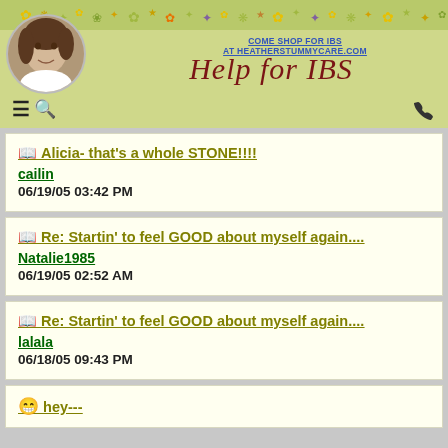[Figure (screenshot): Website header for Help for IBS with profile photo, floral decoration, logo, navigation icons, and shop link]
COME SHOP FOR IBS AT HEATHERSTUMMYCARE.COM
Help for IBS
Alicia- that's a whole STONE!!!! cailin 06/19/05 03:42 PM
Re: Startin' to feel GOOD about myself again.... Natalie1985 06/19/05 02:52 AM
Re: Startin' to feel GOOD about myself again.... lalala 06/18/05 09:43 PM
hey---